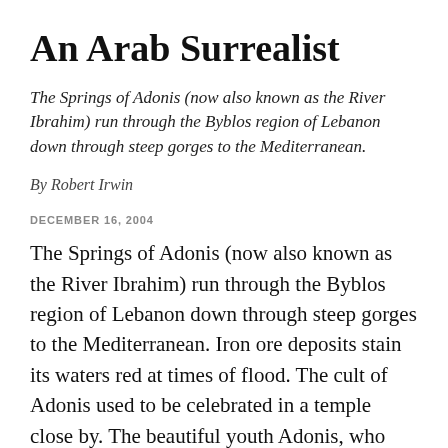An Arab Surrealist
The Springs of Adonis (now also known as the River Ibrahim) run through the Byblos region of Lebanon down through steep gorges to the Mediterranean.
By Robert Irwin
DECEMBER 16, 2004
The Springs of Adonis (now also known as the River Ibrahim) run through the Byblos region of Lebanon down through steep gorges to the Mediterranean. Iron ore deposits stain its waters red at times of flood. The cult of Adonis used to be celebrated in a temple close by. The beautiful youth Adonis, who was